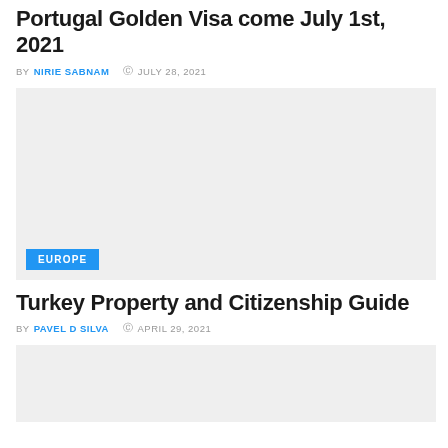Portugal Golden Visa come July 1st, 2021
BY NIRIE SABNAM  © JULY 28, 2021
[Figure (photo): Light gray placeholder image with EUROPE tag overlay]
Turkey Property and Citizenship Guide
BY PAVEL D SILVA  © APRIL 29, 2021
[Figure (photo): Light gray placeholder image at bottom]